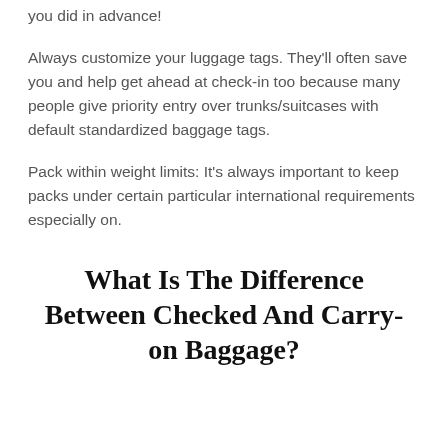you did in advance!
Always customize your luggage tags. They'll often save you and help get ahead at check-in too because many people give priority entry over trunks/suitcases with default standardized baggage tags.
Pack within weight limits: It's always important to keep packs under certain particular international requirements especially on.
What Is The Difference Between Checked And Carry-on Baggage?